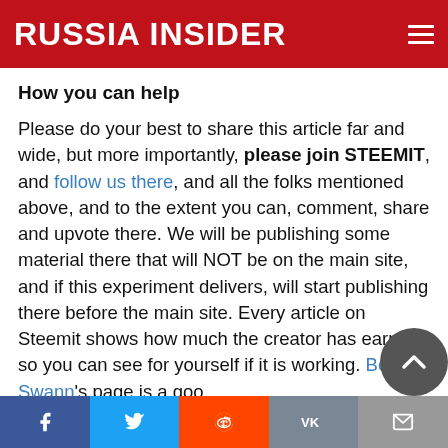RUSSIA INSIDER
How you can help
Please do your best to share this article far and wide, but more importantly, please join STEEMIT, and follow us there, and all the folks mentioned above, and to the extent you can, comment, share and upvote there. We will be publishing some material there that will NOT be on the main site, and if this experiment delivers, will start publishing there before the main site. Every article on Steemit shows how much the creator has earned, so you can see for yourself if it is working. Ben Swann's page is a good
Facebook Twitter Reddit VK Email